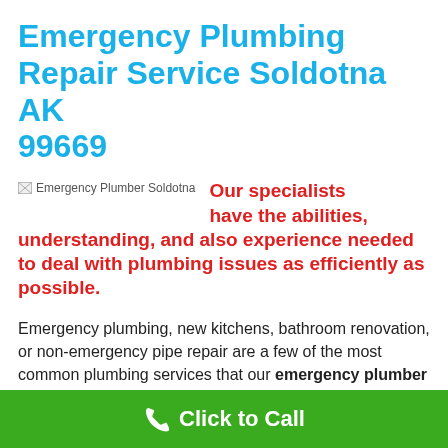Emergency Plumbing Repair Service Soldotna AK 99669
[Figure (photo): Broken image placeholder labeled 'Emergency Plumber Soldotna']
Our specialists have the abilities, understanding, and also experience needed to deal with plumbing issues as efficiently as possible.
Emergency plumbing, new kitchens, bathroom renovation, or non-emergency pipe repair are a few of the most common plumbing services that our emergency plumber Soldotna specializes in. When your Soldotna, Alaska business needs non-emergency pipe repairs or new
Click to Call